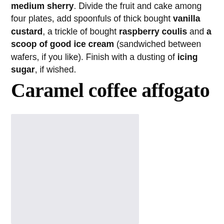medium sherry. Divide the fruit and cake among four plates, add spoonfuls of thick bought vanilla custard, a trickle of bought raspberry coulis and a scoop of good ice cream (sandwiched between wafers, if you like). Finish with a dusting of icing sugar, if wished.
Caramel coffee affogato
[Figure (photo): A light grey/lavender photograph placeholder for caramel coffee affogato dish]